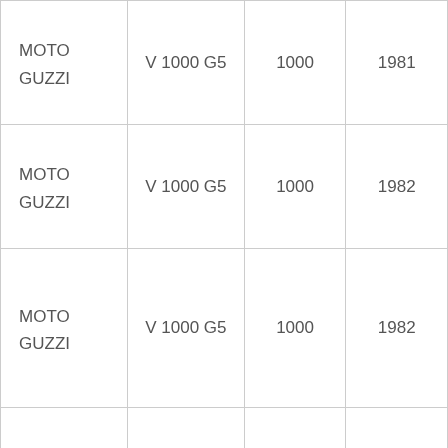| MOTO GUZZI | V 1000 G5 | 1000 | 1981 |
| MOTO GUZZI | V 1000 G5 | 1000 | 1982 |
| MOTO GUZZI | V 1000 G5 | 1000 | 1982 |
| MOTO GUZZI | V 1000 G5 | 1000 | 1983 |
| MOTO GUZZI | V 1000 G5 | 1000 | 1983 |